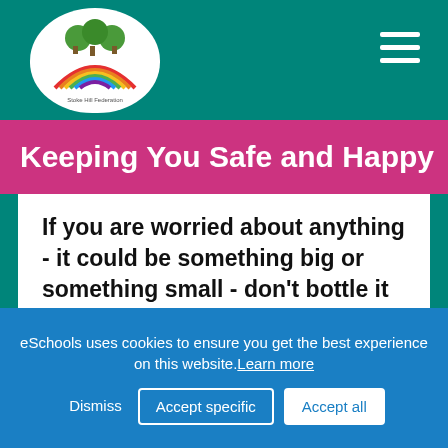[Figure (logo): Stoke Hill Federation logo with rainbow and trees on white oval background]
Keeping You Safe and Happy
If you are worried about anything - it could be something big or something small - don't bottle it up. It can really help if you talk to someone. If there is something on your mind, Childline is
eSchools uses cookies to ensure you get the best experience on this website. Learn more
Dismiss  Accept specific  Accept all